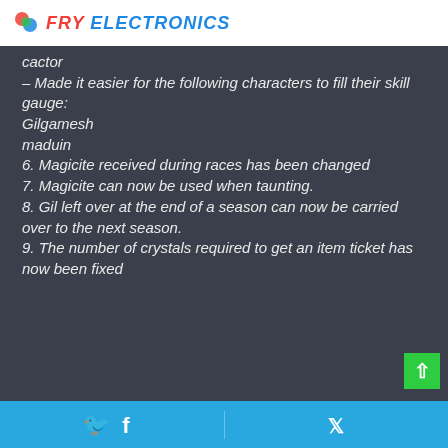FRY ELECTRONICS
cactor
– Made it easier for the following characters to fill their skill gauge:
Gilgamesh
maduin
6. Magicite received during races has been changed
7. Magicite can now be used when taunting.
8. Gil left over at the end of a season can now be carried over to the next season.
9. The number of crystals required to get an item ticket has now been fixed
Facebook share | Twitter share